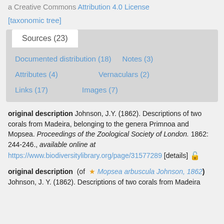a Creative Commons Attribution 4.0 License
[taxonomic tree]
Sources (23)
Documented distribution (18)
Notes (3)
Attributes (4)
Vernaculars (2)
Links (17)
Images (7)
original description Johnson, J.Y. (1862). Descriptions of two corals from Madeira, belonging to the genera Primnoa and Mopsea. Proceedings of the Zoological Society of London. 1862: 244-246., available online at https://www.biodiversitylibrary.org/page/31577289 [details]
original description (of Mopsea arbuscula Johnson, 1862) Johnson, J. Y. (1862). Descriptions of two corals from Madeira